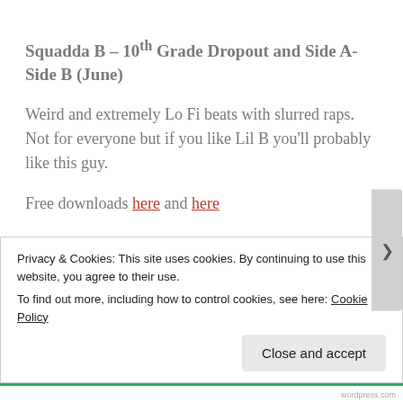Squadda B – 10th Grade Dropout and Side A-Side B (June)
Weird and extremely Lo Fi beats with slurred raps. Not for everyone but if you like Lil B you'll probably like this guy.
Free downloads here and here
Step Brothers – Lord Steppington
Privacy & Cookies: This site uses cookies. By continuing to use this website, you agree to their use. To find out more, including how to control cookies, see here: Cookie Policy